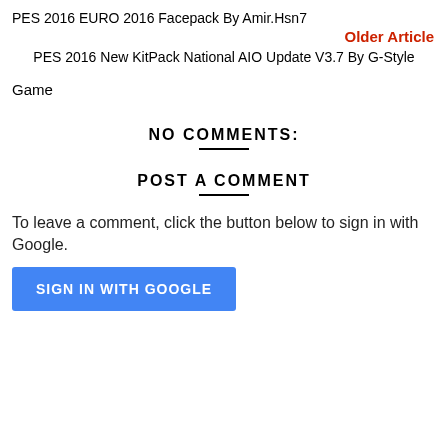PES 2016 EURO 2016 Facepack By Amir.Hsn7
Older Article
PES 2016 New KitPack National AIO Update V3.7 By G-Style
Game
NO COMMENTS:
POST A COMMENT
To leave a comment, click the button below to sign in with Google.
SIGN IN WITH GOOGLE